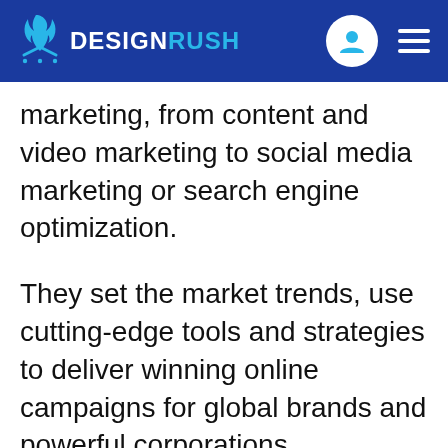DESIGNRUSH
marketing, from content and video marketing to social media marketing or search engine optimization.
They set the market trends, use cutting-edge tools and strategies to deliver winning online campaigns for global brands and powerful corporations.
The local agencies have most likely handled projects for influential companies such as Unilever, GlaxoSmithKline, British American Tobacco, Autozam, and more th...